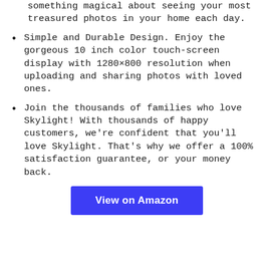something magical about seeing your most treasured photos in your home each day.
Simple and Durable Design. Enjoy the gorgeous 10 inch color touch-screen display with 1280×800 resolution when uploading and sharing photos with loved ones.
Join the thousands of families who love Skylight! With thousands of happy customers, we're confident that you'll love Skylight. That's why we offer a 100% satisfaction guarantee, or your money back.
View on Amazon